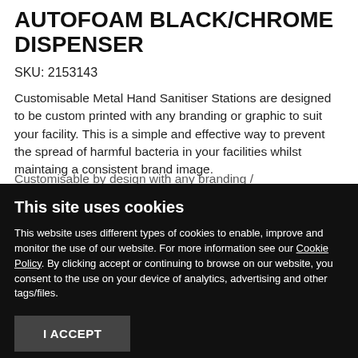AUTOFOAM BLACK/CHROME DISPENSER
SKU: 2153143
Customisable Metal Hand Sanitiser Stations are designed to be custom printed with any branding or graphic to suit your facility. This is a simple and effective way to prevent the spread of harmful bacteria in your facilities whilst maintaing a consistent brand image.
This site uses cookies
This website uses different types of cookies to enable, improve and monitor the use of our website. For more information see our Cookie Policy. By clicking accept or continuing to browse on our website, you consent to the use on your device of analytics, advertising and other tags/files.
I ACCEPT